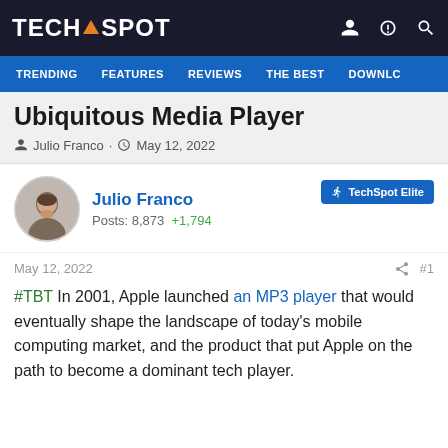TECHSPOT
TRENDING  FEATURES  REVIEWS  THE BEST  DOWNLC
Ubiquitous Media Player
Julio Franco · May 12, 2022
Julio Franco
Posts: 8,873  +1,794
TechSpot Elite
May 12, 2022  #1
#TBT In 2001, Apple launched an MP3 player that would eventually shape the landscape of today's mobile computing market, and the product that put Apple on the path to become a dominant tech player.